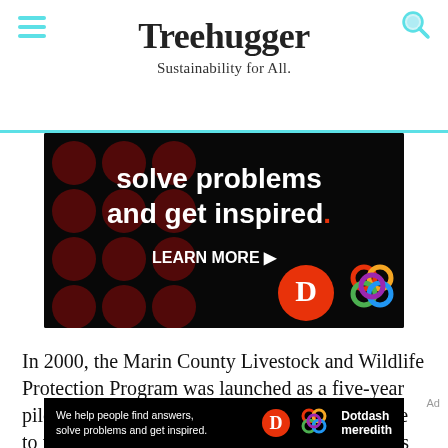Treehugger — Sustainability for All.
[Figure (photo): Advertisement banner showing 'solve problems and get inspired. LEARN MORE' text with Dotdash Meredith logos on black background with dark red circle pattern]
In 2000, the Marin County Livestock and Wildlife Protection Program was launched as a five-year pilot program. The money that would have gone to federal trappers now went to helping ranchers with the
[Figure (photo): Bottom advertisement strip: 'We help people find answers, solve problems and get inspired.' with Dotdash Meredith branding]